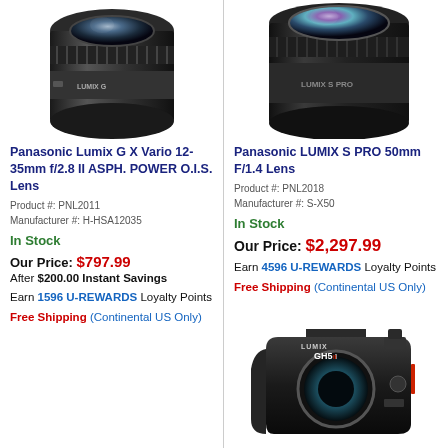[Figure (photo): Panasonic Lumix G X Vario 12-35mm lens product photo, black zoom lens from top angle]
Panasonic Lumix G X Vario 12-35mm f/2.8 II ASPH. POWER O.I.S. Lens
Product #: PNL2011
Manufacturer #: H-HSA12035
In Stock
Our Price: $797.99
After $200.00 Instant Savings
Earn 1596 U-REWARDS Loyalty Points
Free Shipping (Continental US Only)
[Figure (photo): Panasonic LUMIX S PRO 50mm lens product photo, large black prime lens]
Panasonic LUMIX S PRO 50mm F/1.4 Lens
Product #: PNL2018
Manufacturer #: S-X50
In Stock
Our Price: $2,297.99
Earn 4596 U-REWARDS Loyalty Points
Free Shipping (Continental US Only)
[Figure (photo): Panasonic Lumix GH5 II camera body product photo, black mirrorless camera]